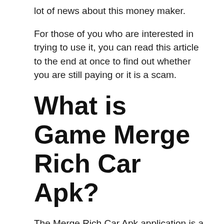lot of news about this money maker.
For those of you who are interested in trying to use it, you can read this article to the end at once to find out whether you are still paying or it is a scam.
What is Game Merge Rich Car Apk?
The Merge Rich Car Apk application is a game where you combine several cars to get a new type of car.
Where for each car will have its own value in accordance with the market price that has been set by RCH or My Rich Farm.